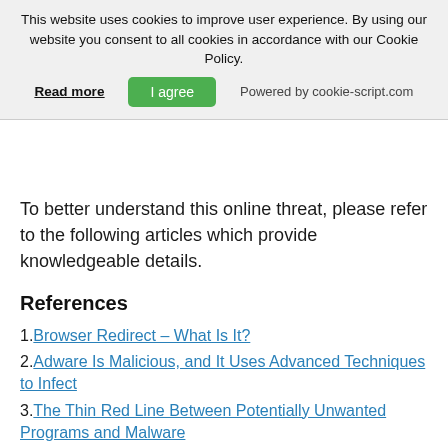This website uses cookies to improve user experience. By using our website you consent to all cookies in accordance with our Cookie Policy.
Read more | I agree | Powered by cookie-script.com
To better understand this online threat, please refer to the following articles which provide knowledgeable details.
References
1. Browser Redirect – What Is It?
2. Adware Is Malicious, and It Uses Advanced Techniques to Infect
3. The Thin Red Line Between Potentially Unwanted Programs and Malware
4. The Pay-Per-Install Affiliate Business – Making Millions out of Adware
5. Malicious Firefox Extensions Installed by 455,000 Users Blocked Updates